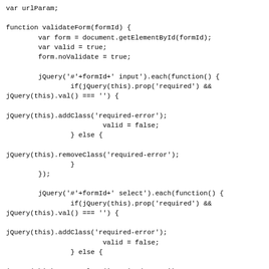var urlParam;

function validateForm(formId) {
        var form = document.getElementById(formId);
        var valid = true;
        form.noValidate = true;

        jQuery('#'+formId+' input').each(function() {
                if(jQuery(this).prop('required') &&
jQuery(this).val() === '') {

jQuery(this).addClass('required-error');
                        valid = false;
                } else {

jQuery(this).removeClass('required-error');
                }
        });

        jQuery('#'+formId+' select').each(function() {
                if(jQuery(this).prop('required') &&
jQuery(this).val() === '') {

jQuery(this).addClass('required-error');
                        valid = false;
                } else {

jQuery(this).removeClass('required-error');
                }
        });